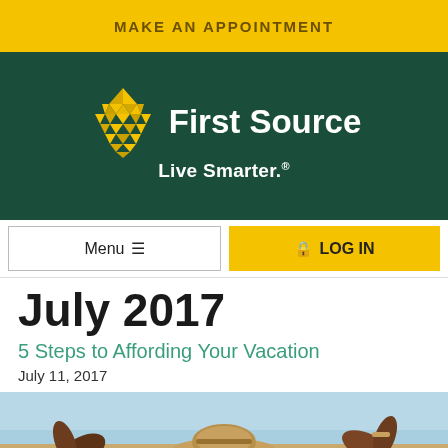MAKE AN APPOINTMENT
[Figure (logo): First Source Bank logo with gold diamond/triangle mosaic icon and text 'First Source Live Smarter.' on dark green background]
Menu ☰
🔒 LOG IN
July 2017
5 Steps to Affording Your Vacation
July 11, 2017
[Figure (photo): Photo of person outdoors holding a straw hat with arms raised against a blue sky background]